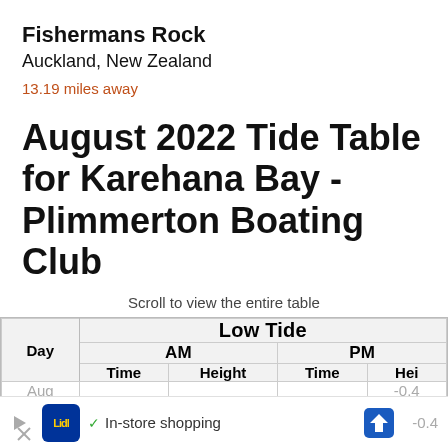Fishermans Rock
Auckland, New Zealand
13.19 miles away
August 2022 Tide Table for Karehana Bay - Plimmerton Boating Club
Scroll to view the entire table
| Day | AM Time | AM Height | PM Time | PM Hei... |
| --- | --- | --- | --- | --- |
| Aug... |  |  |  | -0.4 |